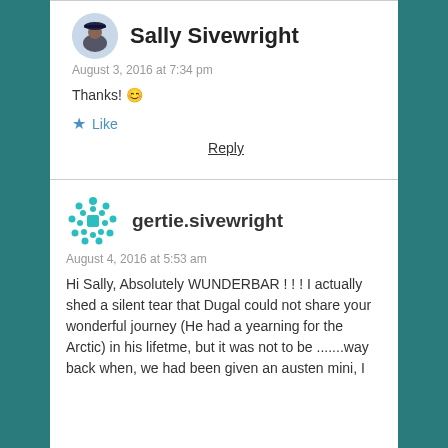Sally Sivewright
August 3, 2016 at 7:34 pm
Thanks! 😊
★ Like
Reply
gertie.sivewright
August 4, 2016 at 5:53 am
Hi Sally, Absolutely WUNDERBAR ! ! ! I actually shed a silent tear that Dugal could not share your wonderful journey (He had a yearning for the Arctic) in his lifetme, but it was not to be .......way back when, we had been given an austen mini, I